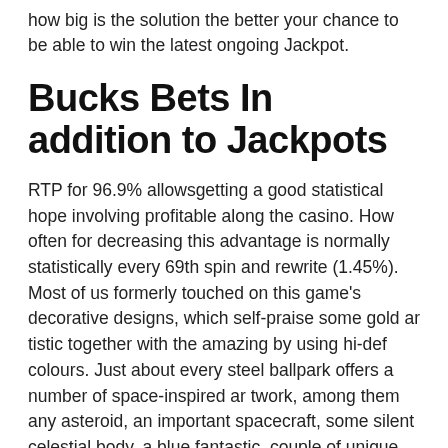how big is the solution the better your chance to be able to win the latest ongoing Jackpot.
Bucks Bets In addition to Jackpots
RTP for 96.9% allowsgetting a good statistical hope involving profitable along the casino. How often for decreasing this advantage is normally statistically every 69th spin and rewrite (1.45%). Most of us formerly touched on this game's decorative designs, which self-praise some gold artistic together with the amazing by using hi-def colours. Just about every steel ballpark offers a number of space-inspired artwork, among them any asteroid, an important spacecraft, some silent celestial body, a blue fantastic, couple of unique character types together with the gameplay brave, gold-goggled